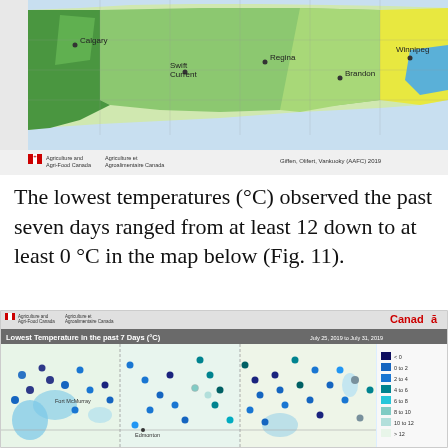[Figure (map): Partial view of a Canadian prairies climate map showing temperature zones in green and yellow shades, with city labels (Calgary, Swift Current, Regina, Brandon, Winnipeg). Agriculture and Agri-Food Canada logo and credit: Giffen, Olifert, Vankuoky (AAFC) 2019.]
The lowest temperatures (°C) observed the past seven days ranged from at least 12 down to at least 0 °C in the map below (Fig. 11).
[Figure (map): Map titled 'Lowest Temperature in the past 7 Days (°C)', dated July 25, 2019 to July 31, 2019. Shows Canadian prairies with weather station dots in shades from dark navy (< 0°C) to light yellow-green (> 12°C). Legend shows categories: <0, 0 to 2, 2 to 4, 4 to 6, 6 to 8, 8 to 10, 10 to 12, >12. Agriculture and Agri-Food Canada / Agriculture et Agroalimentaire Canada logo and Canada wordmark visible.]